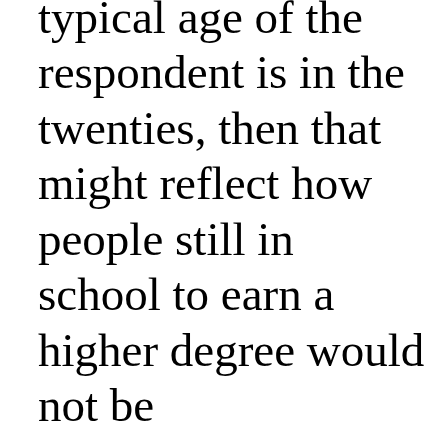typical age of the respondent is in the twenties, then that might reflect how people still in school to earn a higher degree would not be